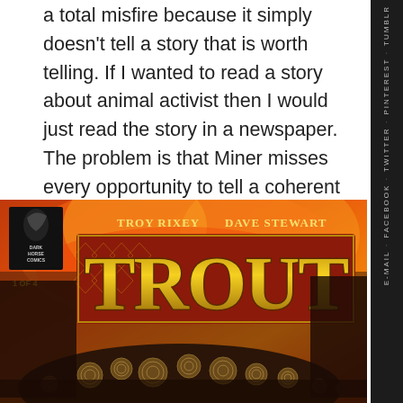a total misfire because it simply doesn't tell a story that is worth telling. If I wanted to read a story about animal activist then I would just read the story in a newspaper. The problem is that Miner misses every opportunity to tell a coherent and interesting story and instead delivers a flat and boring one. SKIP IT!
[Figure (illustration): Comic book cover for 'TROUT' #1 of 4, published by Dark Horse Comics. Art by Troy Nixey, colors by Dave Stewart. Features large stylized 'TROUT' title text in red and gold on a fiery orange background with a tentacled creature in the foreground.]